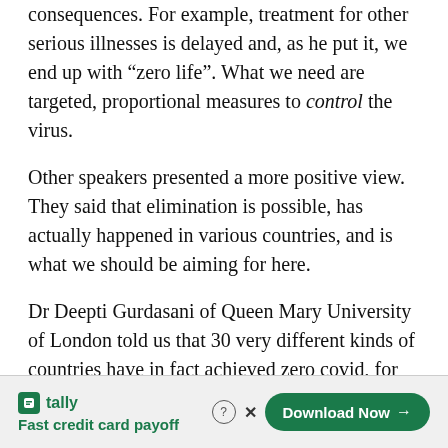consequences. For example, treatment for other serious illnesses is delayed and, as he put it, we end up with “zero life”. What we need are targeted, proportional measures to control the virus.
Other speakers presented a more positive view. They said that elimination is possible, has actually happened in various countries, and is what we should be aiming for here.
Dr Deepti Gurdasani of Queen Mary University of London told us that 30 very different kinds of countries have in fact achieved zero covid, for example China and Vietnam as well as New Zealand and Australia, with another 15 very close. They’ve achieved this through measures aimed at bringing and keeping cases down (NPIs are non...
[Figure (other): Advertisement banner for Tally app - Fast credit card payoff, with Download Now button]